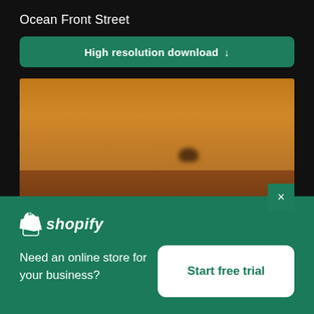Ocean Front Street
High resolution download ↓
[Figure (photo): Blurry orange-hued outdoor photo, likely a hazy or smoky sky scene with a dark silhouette object near the horizon]
[Figure (logo): Shopify logo with shopping bag icon and italic text 'shopify']
Need an online store for your business?
Start free trial